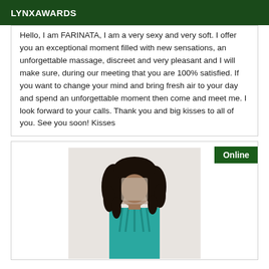LYNXAWARDS
Hello, I am FARINATA, I am a very sexy and very soft. I offer you an exceptional moment filled with new sensations, an unforgettable massage, discreet and very pleasant and I will make sure, during our meeting that you are 100% satisfied. If you want to change your mind and bring fresh air to your day and spend an unforgettable moment then come and meet me. I look forward to your calls. Thank you and big kisses to all of you. See you soon! Kisses
[Figure (photo): Photo of a woman with curly black hair wearing a teal/turquoise top, face blurred for privacy. An 'Online' badge appears in the top right corner of the photo box.]